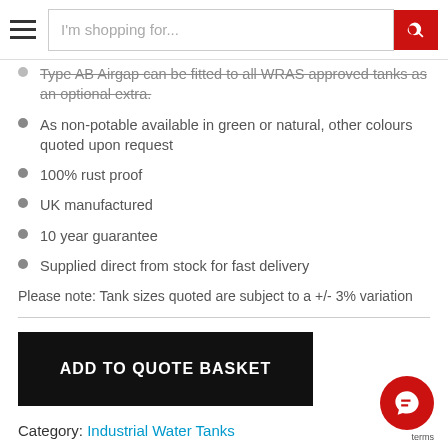I'm shopping for...
Type AB Airgap can be fitted to all WRAS approved tanks as an optional extra.
As non-potable available in green or natural, other colours quoted upon request
100% rust proof
UK manufactured
10 year guarantee
Supplied direct from stock for fast delivery
Please note: Tank sizes quoted are subject to a +/- 3% variation
ADD TO QUOTE BASKET
Category: Industrial Water Tanks